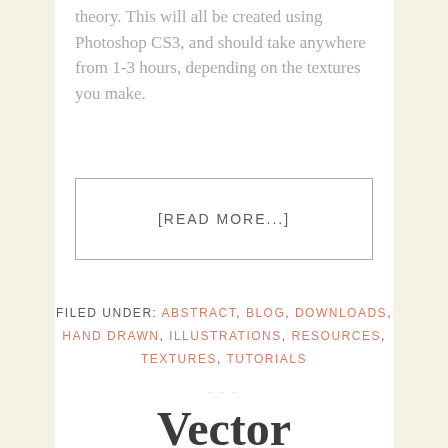theory. This will all be created using Photoshop CS3, and should take anywhere from 1-3 hours, depending on the textures you make.
[READ MORE...]
FILED UNDER: ABSTRACT, BLOG, DOWNLOADS, HAND DRAWN, ILLUSTRATIONS, RESOURCES, TEXTURES, TUTORIALS
Vector Textures Made Simple